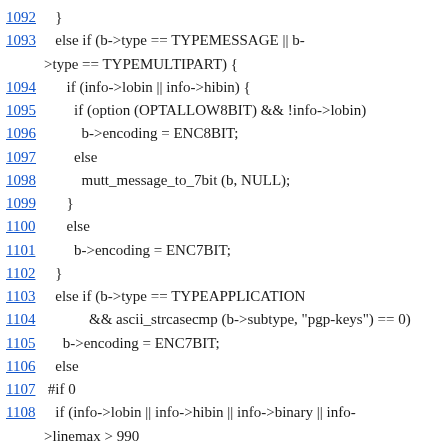Source code listing lines 1092-1113 showing C code for message encoding type checking logic including TYPEMESSAGE, TYPEMULTIPART, TYPEAPPLICATION, ENC8BIT, ENC7BIT, mutt_message_to_7bit, and encoding determination comments.